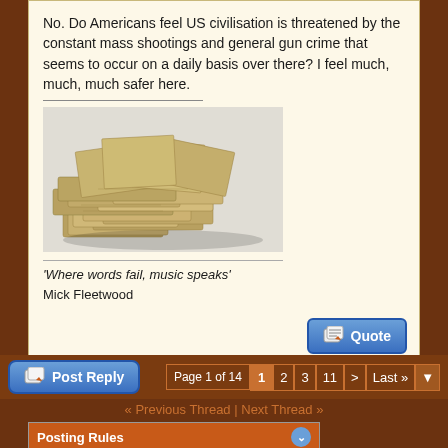No. Do Americans feel US civilisation is threatened by the constant mass shootings and general gun crime that seems to occur on a daily basis over there? I feel much, much, much safer here.
[Figure (photo): A large pile of US dollar bills / cash money stacked up]
'Where words fail, music speaks'
Mick Fleetwood
Post Reply | Page 1 of 14  1 2 3 11 > Last »
« Previous Thread | Next Thread »
Posting Rules
You may not post new threads
You may not post replies
You may not post attachments
You may not edit your posts
BB code is On
Smilies are On
[IMG] code is On
HTML code is On